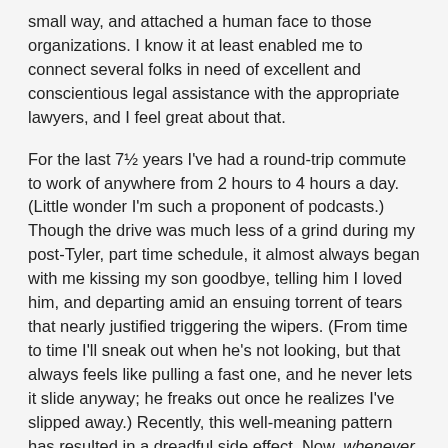small way, and attached a human face to those organizations. I know it at least enabled me to connect several folks in need of excellent and conscientious legal assistance with the appropriate lawyers, and I feel great about that.
For the last 7½ years I've had a round-trip commute to work of anywhere from 2 hours to 4 hours a day. (Little wonder I'm such a proponent of podcasts.) Though the drive was much less of a grind during my post-Tyler, part time schedule, it almost always began with me kissing my son goodbye, telling him I loved him, and departing amid an ensuing torrent of tears that nearly justified triggering the wipers. (From time to time I'll sneak out when he's not looking, but that always feels like pulling a fast one, and he never lets it slide anyway; he freaks out once he realizes I've slipped away.) Recently, this well-meaning pattern has resulted in a dreadful side effect. Now, whenever I tell my son I love him he starts to panic: "Where Mommy go?!?" I've made it a point to tell him I love him a ridiculous number of times a day, but he can't yet seem to break the association between "I love you" and my leaving for what to him is a long, long time.